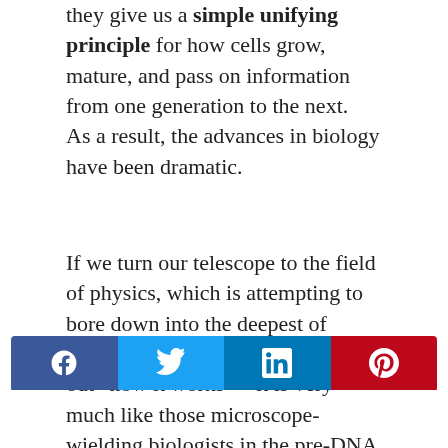they give us a simple unifying principle for how cells grow, mature, and pass on information from one generation to the next.  As a result, the advances in biology have been dramatic.
If we turn our telescope to the field of physics, which is attempting to bore down into the deepest of recesses of our universe to figure out “how it works” – it is very much like those microscope-wielding biologists in the pre-DNA days.
The field of “quantum field theory” does the same kind of sifting and sorting through the “taxonomy” of the universe that biological taxonomists did in the early to mid 1900’s.  We have particle after particle being named and intensely debated. We have massive supercolliders that are much like the